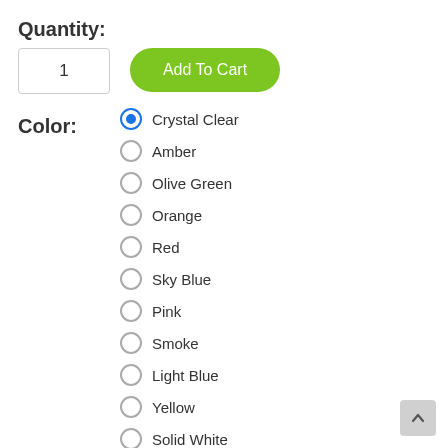Quantity:
1
Add To Cart
Color:
Crystal Clear
Amber
Olive Green
Orange
Red
Sky Blue
Pink
Smoke
Light Blue
Yellow
Solid White
Solid Black